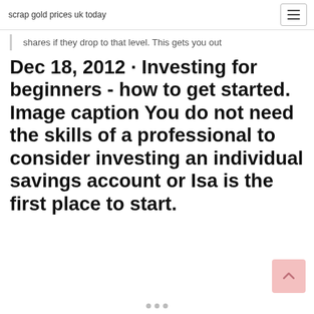scrap gold prices uk today
shares if they drop to that level. This gets you out
Dec 18, 2012 · Investing for beginners - how to get started. Image caption You do not need the skills of a professional to consider investing an individual savings account or Isa is the first place to start.